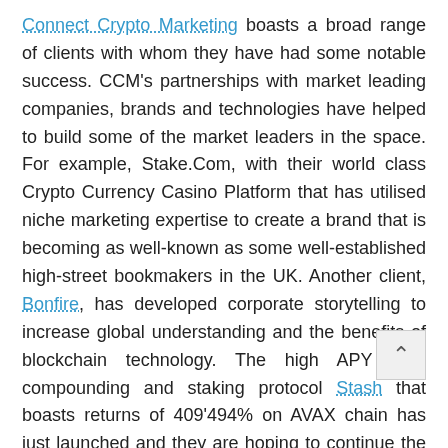Connect Crypto Marketing boasts a broad range of clients with whom they have had some notable success. CCM's partnerships with market leading companies, brands and technologies have helped to build some of the market leaders in the space. For example, Stake.Com, with their world class Crypto Currency Casino Platform that has utilised niche marketing expertise to create a brand that is becoming as well-known as some well-established high-street bookmakers in the UK. Another client, Bonfire, has developed corporate storytelling to increase global understanding and the benefits of blockchain technology. The high APY auto compounding and staking protocol Stash that boasts returns of 409'494% on AVAX chain has just launched and they are hoping to continue the success with this unique breakout project.
Who are CCM?
The marketing firm was born out of the founders' combined passion of both cryptocurrency and marketing.